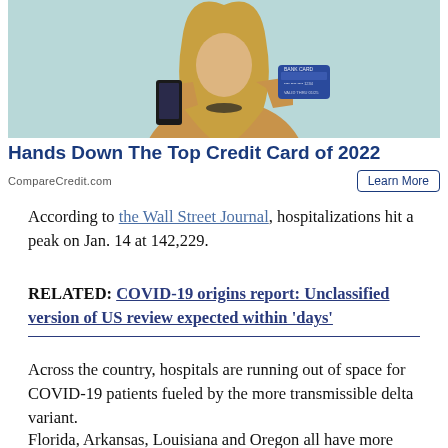[Figure (photo): Woman with blonde hair holding a blue credit card and a black smartphone, wearing a beige/tan sweater, against a light teal background. Advertisement image.]
Hands Down The Top Credit Card of 2022
CompareCredit.com
According to the Wall Street Journal, hospitalizations hit a peak on Jan. 14 at 142,229.
RELATED: COVID-19 origins report: Unclassified version of US review expected within 'days'
Across the country, hospitals are running out of space for COVID-19 patients fueled by the more transmissible delta variant.
Florida, Arkansas, Louisiana and Oregon all have more